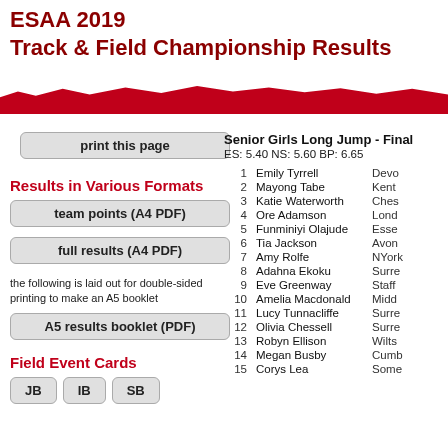ESAA 2019
Track & Field Championship Results
print this page
Results in Various Formats
team points (A4 PDF)
full results (A4 PDF)
the following is laid out for double-sided printing to make an A5 booklet
A5 results booklet (PDF)
Field Event Cards
JB   IB   SB
Senior Girls Long Jump - Final
ES: 5.40 NS: 5.60 BP: 6.65
| Pos | Name | County |
| --- | --- | --- |
| 1 | Emily Tyrrell | Devon |
| 2 | Mayong Tabe | Kent |
| 3 | Katie Waterworth | Cheshire |
| 4 | Ore Adamson | London |
| 5 | Funminiyi Olajude | Essex |
| 6 | Tia Jackson | Avon |
| 7 | Amy Rolfe | NYorkshire |
| 8 | Adahna Ekoku | Surrey |
| 9 | Eve Greenway | Staffs |
| 10 | Amelia Macdonald | Middx |
| 11 | Lucy Tunnacliffe | Surrey |
| 12 | Olivia Chessell | Surrey |
| 13 | Robyn Ellison | Wilts |
| 14 | Megan Busby | Cumbria |
| 15 | Corys Lea | Somerset |